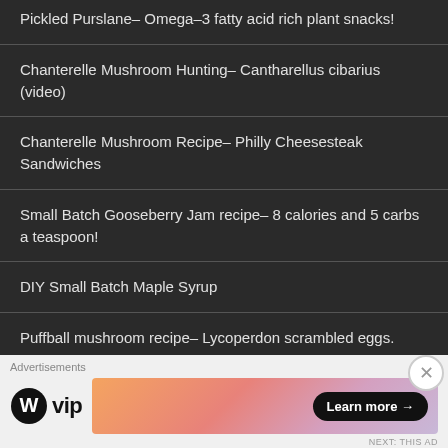Pickled Purslane- Omega-3 fatty acid rich plant snacks!
Chanterelle Mushroom Hunting- Cantharellus cibarius (video)
Chanterelle Mushroom Recipe- Philly Cheesesteak Sandwiches
Small Batch Gooseberry Jam recipe- 8 calories and 5 carbs a teaspoon!
DIY Small Batch Maple Syrup
Puffball mushroom recipe- Lycoperdon scrambled eggs.
Edible Puffball Mushrooms: Lycoperdon pyreform &
Advertisements
[Figure (logo): WordPress VIP logo with circular W icon and 'vip' text, followed by a colorful banner advertisement with 'Learn more →' button]